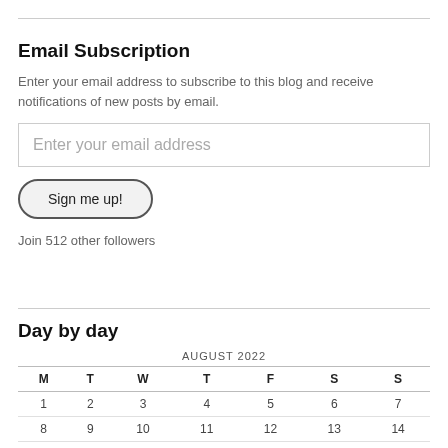Email Subscription
Enter your email address to subscribe to this blog and receive notifications of new posts by email.
Enter your email address
Sign me up!
Join 512 other followers
Day by day
| M | T | W | T | F | S | S |
| --- | --- | --- | --- | --- | --- | --- |
| 1 | 2 | 3 | 4 | 5 | 6 | 7 |
| 8 | 9 | 10 | 11 | 12 | 13 | 14 |